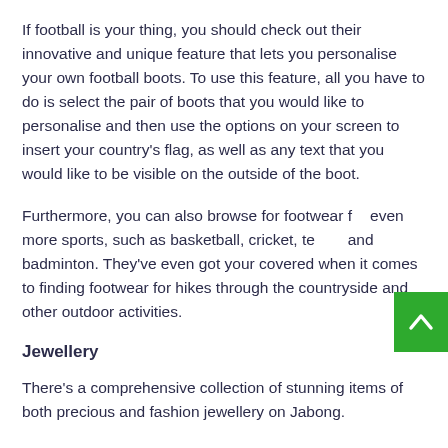If football is your thing, you should check out their innovative and unique feature that lets you personalise your own football boots. To use this feature, all you have to do is select the pair of boots that you would like to personalise and then use the options on your screen to insert your country's flag, as well as any text that you would like to be visible on the outside of the boot.
Furthermore, you can also browse for footwear for even more sports, such as basketball, cricket, tennis and badminton. They've even got your covered when it comes to finding footwear for hikes through the countryside and other outdoor activities.
Jewellery
There's a comprehensive collection of stunning items of both precious and fashion jewellery on Jabong.